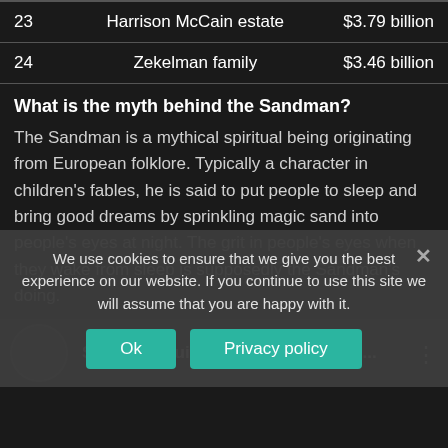| 23 | Harrison McCain estate | $3.79 billion |
| 24 | Zekelman family | $3.46 billion |
What is the myth behind the Sandman?
The Sandman is a mythical spiritual being originating from European folklore. Typically a character in children's fables, he is said to put people to sleep and bring good dreams by sprinkling magic sand into people's eyes at night. The grit in people's eyes when they wake from sleep is supposedly the Sandman's doing.
[Figure (screenshot): Video thumbnail showing a person with the title 'Sandman Suites in Vancouver Roo...' and a three-dot menu icon]
We use cookies to ensure that we give you the best experience on our website. If you continue to use this site we will assume that you are happy with it.